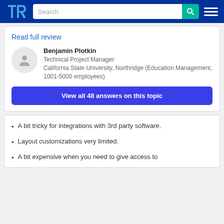TrustRadius navigation bar with logo, search, and menu
Read full review
Benjamin Plotkin
Technical Project Manager
California State University, Northridge (Education Management, 1001-5000 employees)
View all 48 answers on this topic
A bit tricky for integrations with 3rd party software.
Layout customizations very limited.
A bit expensive when you need to give access to